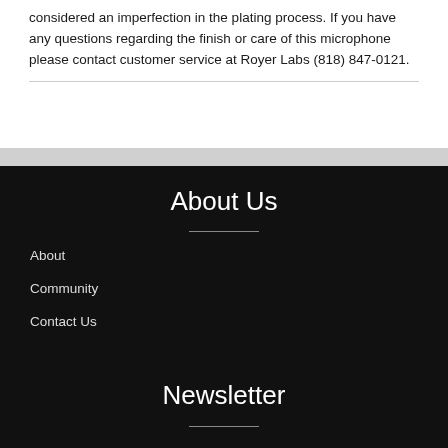considered an imperfection in the plating process. If you have any questions regarding the finish or care of this microphone please contact customer service at Royer Labs (818) 847-0121.
About Us
About
Community
Contact Us
Newsletter